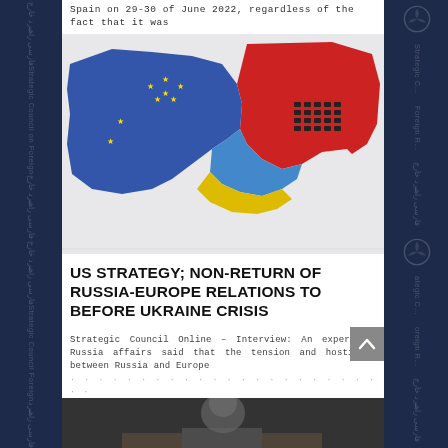Spain on 29-30 of June 2022, regardless of the fact that it was
[Figure (photo): 3D rendered map showing Europe and Russia, with EU countries in blue with yellow stars, Ukraine in yellow and blue, and Russia in red with small military tank figurines placed on it. Background is white/light grey.]
US STRATEGY; NON-RETURN OF RUSSIA-EUROPE RELATIONS TO BEFORE UKRAINE CRISIS
Strategic Council Online – Interview: An expert on Russia affairs said that the tension and hostility between Russia and Europe have reached a level that return to the state before the crisis
[Figure (photo): Partial photo of a person, appears to be a man, bottom portion cut off, dark background with some gold/warm lighting.]